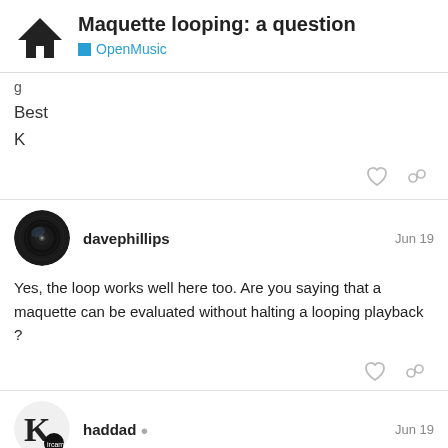Maquette looping: a question — OpenMusic
Best
K
davephillips  Jun 19
Yes, the loop works well here too. Are you saying that a maquette can be evaluated without halting a looping playback ?
haddad  Jun 19
dear Dave,